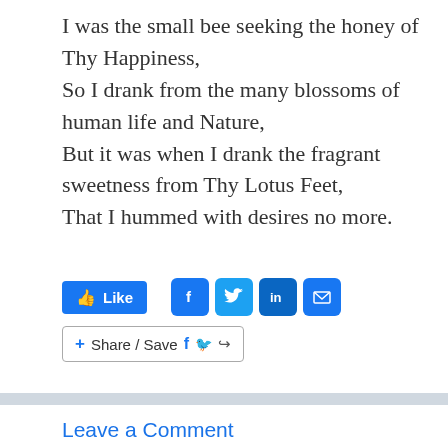I was the small bee seeking the honey of Thy Happiness,
So I drank from the many blossoms of human life and Nature,
But it was when I drank the fragrant sweetness from Thy Lotus Feet,
That I hummed with desires no more.
[Figure (infographic): Social sharing buttons: Like button (Facebook style, blue), Facebook share icon, Twitter share icon, LinkedIn share icon, Email share icon, and a Share/Save button with Facebook and Twitter mini icons and a share arrow icon.]
Leave a Comment